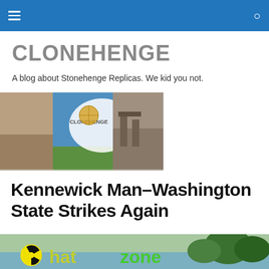CLONEHENGE (navigation bar)
CLONEHENGE
A blog about Stonehenge Replicas. We kid you not.
[Figure (photo): Clonehenge blog banner image with Stonehenge replica photos and logo]
Kennewick Man–Washington State Strikes Again
[Figure (photo): Sign reading 'hot zone' with radiation symbol, yellow and green lettering, outdoor scene with trees]